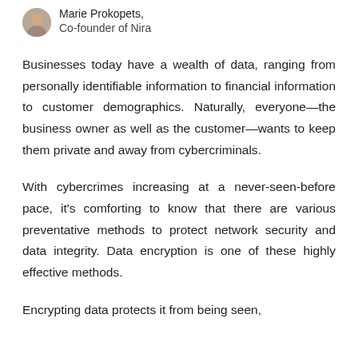Marie Prokopets, Co-founder of Nira
Businesses today have a wealth of data, ranging from personally identifiable information to financial information to customer demographics. Naturally, everyone—the business owner as well as the customer—wants to keep them private and away from cybercriminals.
With cybercrimes increasing at a never-seen-before pace, it's comforting to know that there are various preventative methods to protect network security and data integrity. Data encryption is one of these highly effective methods.
Encrypting data protects it from being seen,